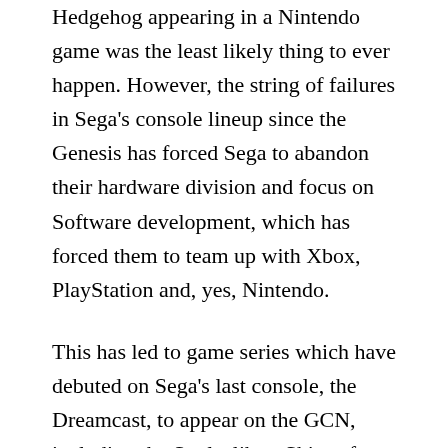Hedgehog appearing in a Nintendo game was the least likely thing to ever happen. However, the string of failures in Sega's console lineup since the Genesis has forced Sega to abandon their hardware division and focus on Software development, which has forced them to team up with Xbox, PlayStation and, yes, Nintendo.
This has led to game series which have debuted on Sega's last console, the Dreamcast, to appear on the GCN, including the Soulcalibur, Skies of Arcadia, Phantasy Star, and Sonic Adventure series. This has extended to the GBA and all of Nintendo's following systems, including the Wii, where Mario and Sonic appeared together for the first time in the game Mario and Sonic at the Olympics. That was a team-up the likes of which will never be matched in the history of video